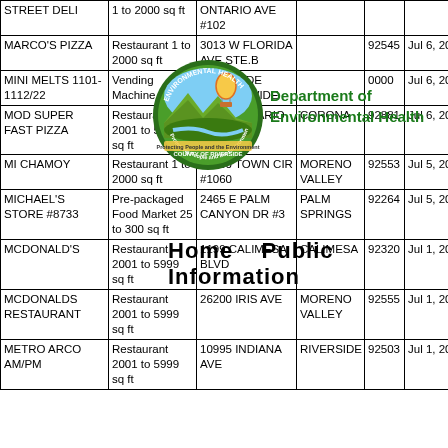| Facility Name | Facility Type | Address | City | Zip | Date | Score |
| --- | --- | --- | --- | --- | --- | --- |
| STREET DELI | 1 to 2000 sq ft | ONTARIO AVE #102 |  |  |  |  |
| MARCO'S PIZZA | Restaurant 1 to 2000 sq ft | 3013 W FLORIDA AVE STE.B |  | 92545 | Jul 6, 2022 | 90.0 |
| MINI MELTS 1101-1112/22 | Vending Machine | RIVERSIDE COUNTYWIDE |  | 0000 | Jul 6, 2022 | 100. |
| MOD SUPER FAST PIZZA | Restaurant 2001 to 5999 sq ft | 922 E ONTARIO AVE #103 | CORONA | 92881 | Jul 6, 2022 | 93.0 |
| MI CHAMOY | Restaurant 1 to 2000 sq ft | 22500 TOWN CIR #1060 | MORENO VALLEY | 92553 | Jul 5, 2022 | 100. |
| MICHAEL'S STORE #8733 | Pre-packaged Food Market 25 to 300 sq ft | 2465 E PALM CANYON DR #3 | PALM SPRINGS | 92264 | Jul 5, 2022 | 98.0 |
| MCDONALD'S | Restaurant 2001 to 5999 sq ft | 1199 CALIMESA BLVD | CALIMESA | 92320 | Jul 1, 2022 | 92.0 |
| MCDONALDS RESTAURANT | Restaurant 2001 to 5999 sq ft | 26200 IRIS AVE | MORENO VALLEY | 92555 | Jul 1, 2022 | 100. |
| METRO ARCO AM/PM | Restaurant 2001 to 5999 sq ft | 10995 INDIANA AVE | RIVERSIDE | 92503 | Jul 1, 2022 | 96.0 |
[Figure (logo): Riverside County Department of Environmental Health seal/logo]
Department of Environmental Health
Home   Public Information